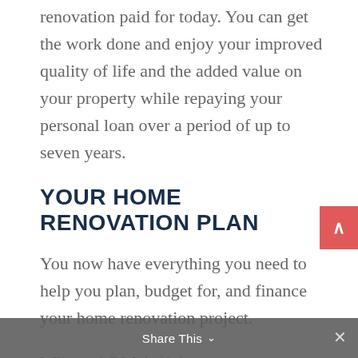renovation paid for today. You can get the work done and enjoy your improved quality of life and the added value on your property while repaying your personal loan over a period of up to seven years.
YOUR HOME RENOVATION PLAN
You now have everything you need to help you plan, budget for, and finance your home renovation project.
Why wait? Make it happen as soon as you can and enjoy the improved lifestyle and added property value
Share This